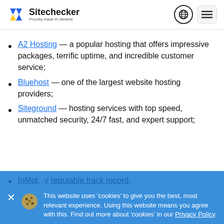Sitechecker — Proudly made in Ukraine
A2 Hosting — a popular hosting that offers impressive packages, terrific uptime, and incredible customer service;
Bluehost — one of the largest website hosting providers;
Siteground — hosting services with top speed, unmatched security, 24/7 fast, and expert support;
InMot...y reputable track record,
This website uses 'cookies' to give you the best, most relevant experience. Using this website means you agree with this. Find out more about 'cookies' in our Privacy Policy.